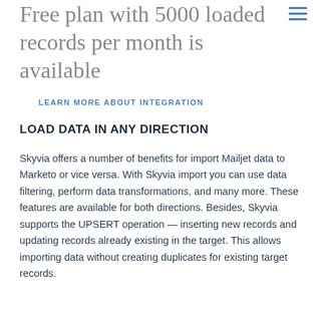Free plan with 5000 loaded records per month is available
LEARN MORE ABOUT INTEGRATION
LOAD DATA IN ANY DIRECTION
Skyvia offers a number of benefits for import Mailjet data to Marketo or vice versa. With Skyvia import you can use data filtering, perform data transformations, and many more. These features are available for both directions. Besides, Skyvia supports the UPSERT operation — inserting new records and updating records already existing in the target. This allows importing data without creating duplicates for existing target records.